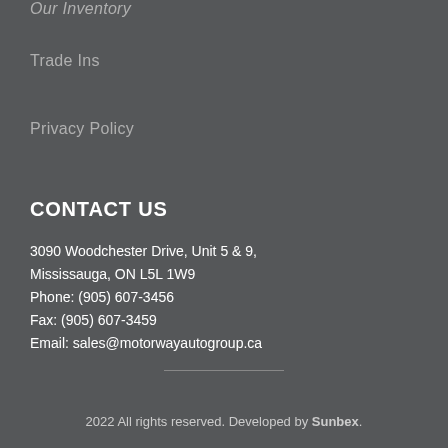Our Inventory
Trade Ins
Privacy Policy
CONTACT US
3090 Woodchester Drive, Unit 5 & 9,
Mississauga, ON L5L 1W9
Phone: (905) 607-3456
Fax: (905) 607-3459
Email: sales@motorwayautogroup.ca
2022 All rights reserved. Developed by Sunbex.